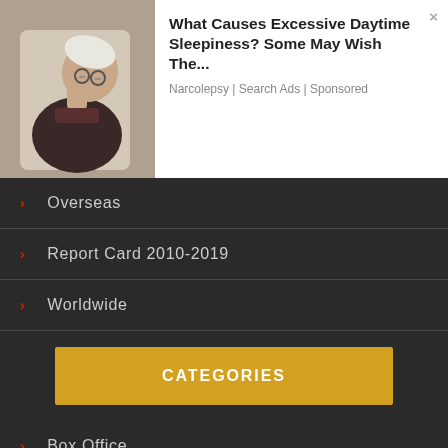[Figure (screenshot): Advertisement banner with elderly man sleeping and text about excessive daytime sleepiness]
What Causes Excessive Daytime Sleepiness? Some May Wish The...
Narcolepsy | Search Ads | Sponsored
Overseas
Report Card 2010-2019
Worldwide
CATEGORIES
Box Office
Filmography
Guest Post
Hollywood